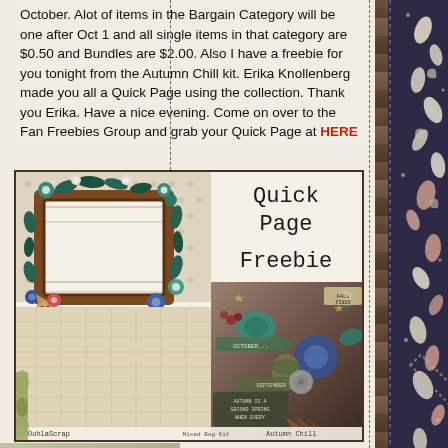October. Alot of items in the Bargain Category will be one after Oct 1 and all single items in that category are $0.50 and Bundles are $2.00. Also I have a freebie for you tonight from the Autumn Chill kit. Erika Knollenberg made you all a Quick Page using the collection. Thank you Erika. Have a nice evening. Come on over to the Fan Freebies Group and grab your Quick Page at HERE
[Figure (illustration): Quick Page Freebie promotional graphic showing a scrapbook page with brown wooden frame, floral/greenery decorations, patterned paper, and kit element collage. Text reads 'Quick Page Freebie' in typewriter font. Bottom shows brand watermarks 'OohlaScrap' and 'Autumn Chill Mixed Bag Kit'.]